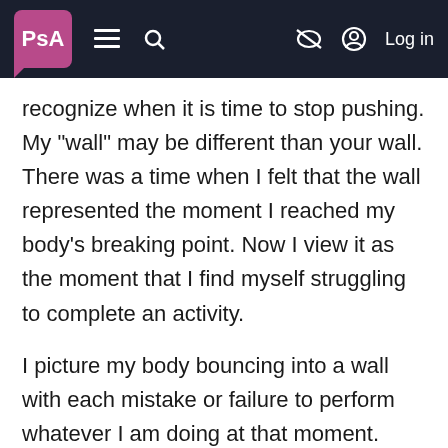PsA navigation bar with logo, menu, search, and Log in
recognize when it is time to stop pushing. My "wall" may be different than your wall. There was a time when I felt that the wall represented the moment I reached my body's breaking point. Now I view it as the moment that I find myself struggling to complete an activity.
I picture my body bouncing into a wall with each mistake or failure to perform whatever I am doing at that moment. Many times, this thought process has allowed me to resume and finish what I was doing sooner than had I pushed to my breaking point.